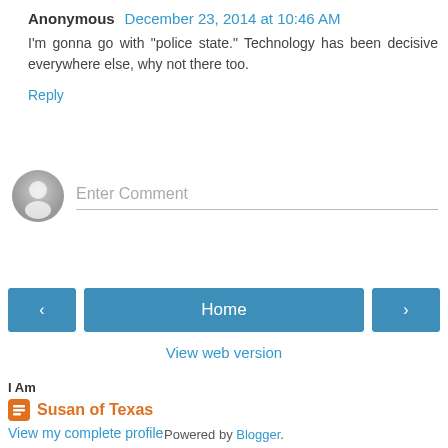Anonymous December 23, 2014 at 10:46 AM
I'm gonna go with "police state." Technology has been decisive everywhere else, why not there too.
Reply
[Figure (other): Avatar placeholder circle with person silhouette icon, gray gradient]
Enter Comment
[Figure (other): Navigation bar with left arrow button, Home center button, right arrow button, all in blue]
View web version
I Am
Susan of Texas
View my complete profile
Powered by Blogger.